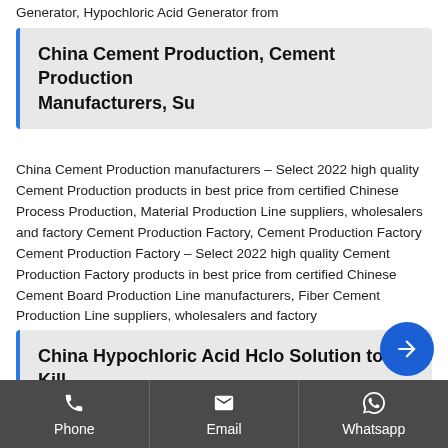Generator, Hypochloric Acid Generator from
China Cement Production, Cement Production Manufacturers, Su
China Cement Production manufacturers – Select 2022 high quality Cement Production products in best price from certified Chinese Process Production, Material Production Line suppliers, wholesalers and factory Cement Production Factory, Cement Production Factory Cement Production Factory – Select 2022 high quality Cement Production Factory products in best price from certified Chinese Cement Board Production Line manufacturers, Fiber Cement Production Line suppliers, wholesalers and factory
China Hypochloric Acid Hclo Solution to Kill Virus
Phone  Email  Whatsapp